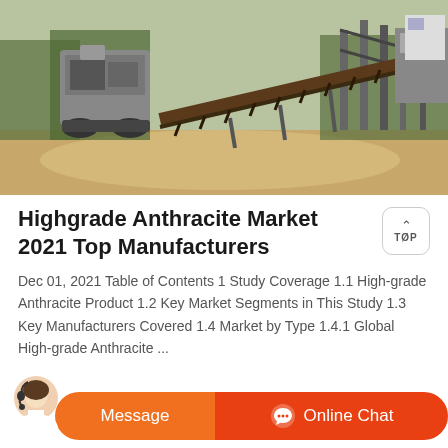[Figure (photo): Outdoor industrial mining/crushing machinery including a mobile crusher and long conveyor belt on bare ground with trees in background]
Highgrade Anthracite Market 2021 Top Manufacturers
Dec 01, 2021 Table of Contents 1 Study Coverage 1.1 High-grade Anthracite Product 1.2 Key Market Segments in This Study 1.3 Key Manufacturers Covered 1.4 Market by Type 1.4.1 Global High-grade Anthracite ...